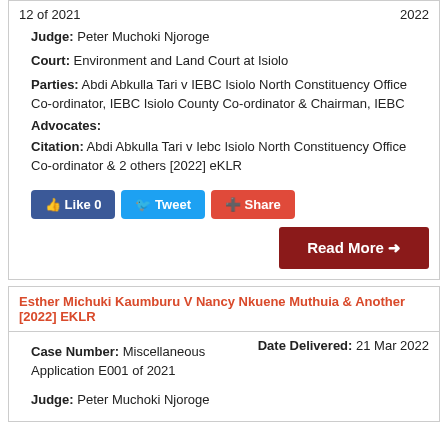12 of 2021 / 2022
Judge: Peter Muchoki Njoroge
Court: Environment and Land Court at Isiolo
Parties: Abdi Abkulla Tari v IEBC Isiolo North Constituency Office Co-ordinator, IEBC Isiolo County Co-ordinator & Chairman, IEBC
Advocates:
Citation: Abdi Abkulla Tari v Iebc Isiolo North Constituency Office Co-ordinator & 2 others [2022] eKLR
[Figure (screenshot): Social sharing buttons: Like 0 (Facebook), Tweet (Twitter), Share (Google+)]
[Figure (screenshot): Read More button in dark red]
Esther Michuki Kaumburu V Nancy Nkuene Muthuia & Another [2022] EKLR
Case Number: Miscellaneous Application E001 of 2021
Date Delivered: 21 Mar 2022
Judge: Peter Muchoki Njoroge